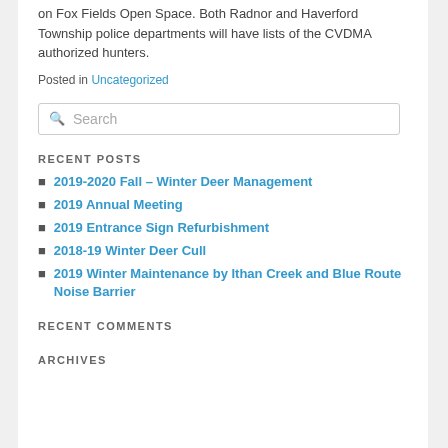on Fox Fields Open Space. Both Radnor and Haverford Township police departments will have lists of the CVDMA authorized hunters.
Posted in Uncategorized
[Figure (other): Search input box with placeholder text 'Search']
RECENT POSTS
2019-2020 Fall – Winter Deer Management
2019 Annual Meeting
2019 Entrance Sign Refurbishment
2018-19 Winter Deer Cull
2019 Winter Maintenance by Ithan Creek and Blue Route Noise Barrier
RECENT COMMENTS
ARCHIVES